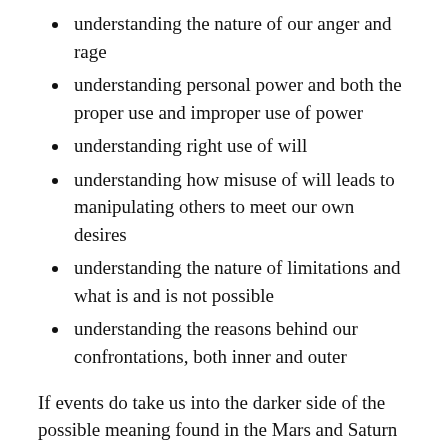understanding the nature of our anger and rage
understanding personal power and both the proper use and improper use of power
understanding right use of will
understanding how misuse of will leads to manipulating others to meet our own desires
understanding the nature of limitations and what is and is not possible
understanding the reasons behind our confrontations, both inner and outer
If events do take us into the darker side of the possible meaning found in the Mars and Saturn conjunction in Scorpio, a good